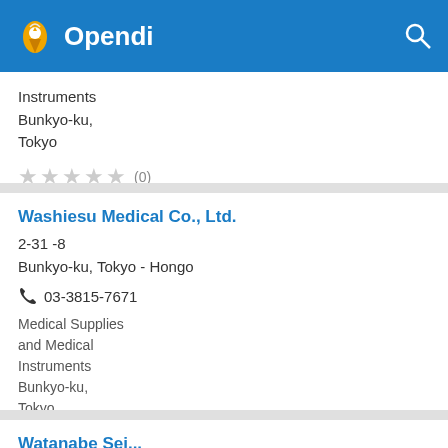Opendi
Instruments
Bunkyo-ku,
Tokyo
★★★★★ (0)
Washiesu Medical Co., Ltd.
2-31 -8
Bunkyo-ku, Tokyo - Hongo
☎ 03-3815-7671
Medical Supplies and Medical Instruments
Bunkyo-ku,
Tokyo
★★★★★ (0)
Watanabe Sei...